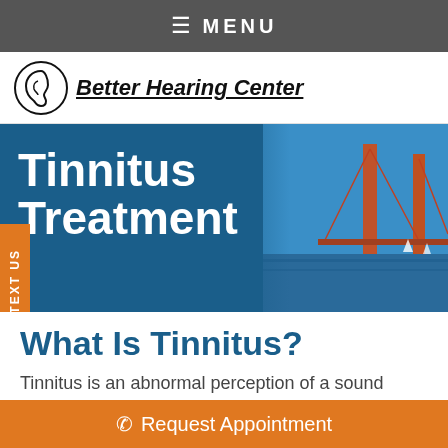≡ MENU
[Figure (logo): Better Hearing Center logo with ear icon and italic underlined text]
Tinnitus Treatment
[Figure (photo): Golden Gate Bridge photo used as hero banner background]
What Is Tinnitus?
Tinnitus is an abnormal perception of a sound reported by a patient but is
Request Appointment